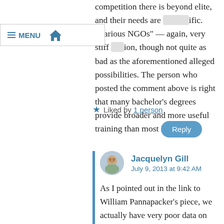competition there is beyond elite, and their needs are [very specific]. "Various NGOs" — again, very stiff [competition], though not quite as bad as the aforementioned alleged possibilities. The person who posted the comment above is right that many bachelor's degrees provide broader and more useful training than most PhDs.
Liked by 1 person
Reply
Jacquelyn Gill
July 9, 2013 at 9:42 AM
As I pointed out in the link to William Pannapacker's piece, we actually have very poor data on job placement. I have just as much anecdata as you do that suggests otherwise. Until we know actual job placement rates of PhD students outside of academia, saying "there are